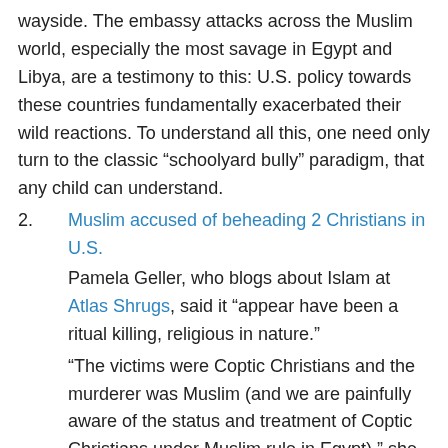wayside. The embassy attacks across the Muslim world, especially the most savage in Egypt and Libya, are a testimony to this: U.S. policy towards these countries fundamentally exacerbated their wild reactions. To understand all this, one need only turn to the classic “schoolyard bully” paradigm, that any child can understand.
2. Muslim accused of beheading 2 Christians in U.S.
Pamela Geller, who blogs about Islam at Atlas Shrugs, said it “appear have been a ritual killing, religious in nature.”
“The victims were Coptic Christians and the murderer was Muslim (and we are painfully aware of the status and treatment of Coptic Christians under Muslim rule in Egypt),” she wrote.
“The killing evokes this passage in the Quran: ‘When